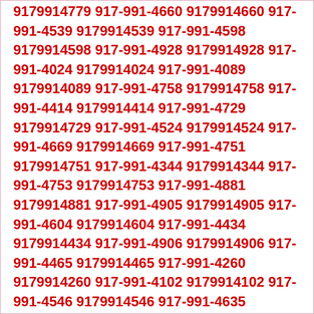9179914779 917-991-4660 9179914660 917-991-4539 9179914539 917-991-4598 9179914598 917-991-4928 9179914928 917-991-4024 9179914024 917-991-4089 9179914089 917-991-4758 9179914758 917-991-4414 9179914414 917-991-4729 9179914729 917-991-4524 9179914524 917-991-4669 9179914669 917-991-4751 9179914751 917-991-4344 9179914344 917-991-4753 9179914753 917-991-4881 9179914881 917-991-4905 9179914905 917-991-4604 9179914604 917-991-4434 9179914434 917-991-4906 9179914906 917-991-4465 9179914465 917-991-4260 9179914260 917-991-4102 9179914102 917-991-4546 9179914546 917-991-4635 9179914635 917-991-4034 9179914034 917-991-4359 9179914359 917-991-4624 9179914624 917-991-4929 9179914929 917-991-4572 9179914572 917-991-4619 9179914619 917-991-4916 9179914916 917-991-4946 9179914946 917-991-4508